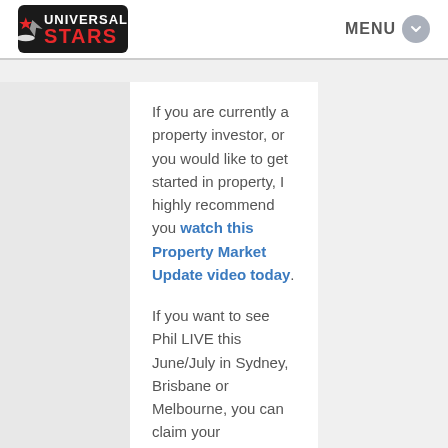[Figure (logo): Universal Stars logo: black rounded rectangle with a red star and grey rocket/arrow, text 'UNIVERSAL' above 'STARS' in red bold font]
MENU
If you are currently a property investor, or you would like to get started in property, I highly recommend you watch this Property Market Update video today.
If you want to see Phil LIVE this June/July in Sydney, Brisbane or Melbourne, you can claim your complimentary tickets, valued at $147, when you click through to watch his Property Market Update now.